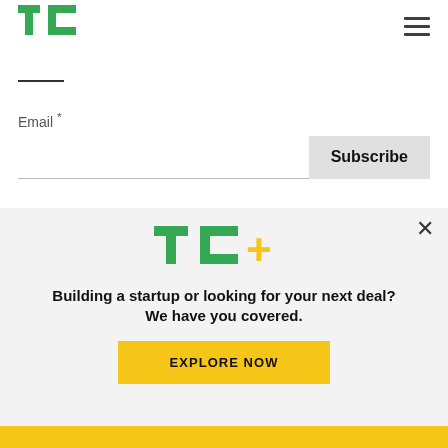TechCrunch logo and navigation
Email *
Subscribe
Daily Crunch: Meta partnership allows Indian
[Figure (screenshot): Screenshot of a mobile app showing WhatsApp-like interface with banana emoji and chat screens on a green background]
[Figure (logo): TC+ logo in green and yellow]
Building a startup or looking for your next deal? We have you covered.
EXPLORE NOW